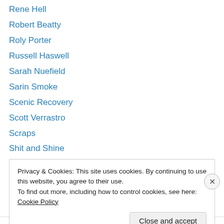Rene Hell
Robert Beatty
Roly Porter
Russell Haswell
Sarah Nuefield
Sarin Smoke
Scenic Recovery
Scott Verrastro
Scraps
Shit and Shine
Sir Richard Bishop
Skullflower
Slomo
Privacy & Cookies: This site uses cookies. By continuing to use this website, you agree to their use. To find out more, including how to control cookies, see here: Cookie Policy
Close and accept